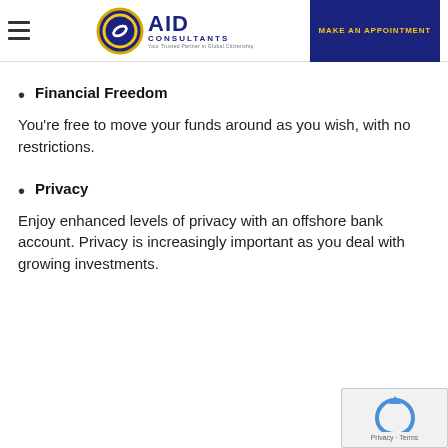[Figure (logo): AID Consultants logo with circular chain-link icon and globe, dark blue text reading 'AID CONSULTANTS']
Financial Freedom
You’re free to move your funds around as you wish, with no restrictions.
Privacy
Enjoy enhanced levels of privacy with an offshore bank account. Privacy is increasingly important as you deal with growing investments.